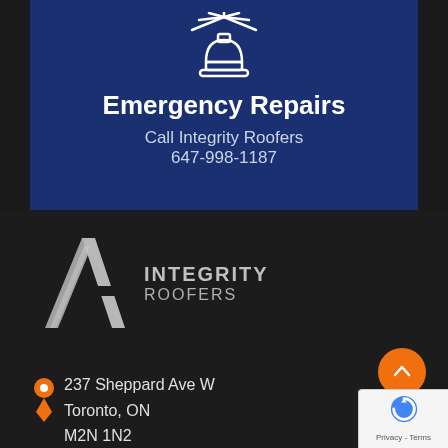[Figure (illustration): White alarm/siren icon with light rays on dark blue background]
Emergency Repairs
Call Integrity Roofers
647-998-1187
[Figure (logo): Integrity Roofers logo with stylized angular geometric mark in silver/grey and company name text]
237 Sheppard Ave W
Toronto, ON
M2N 1N2